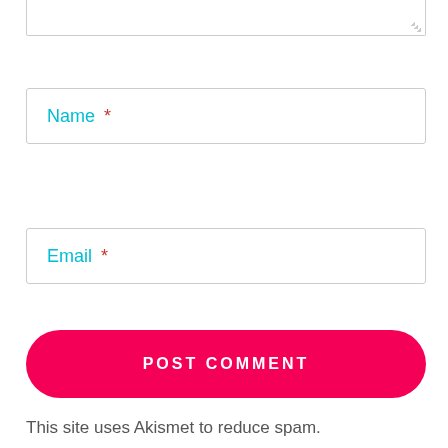Name *
Email *
POST COMMENT
This site uses Akismet to reduce spam.
Learn how your comment data is